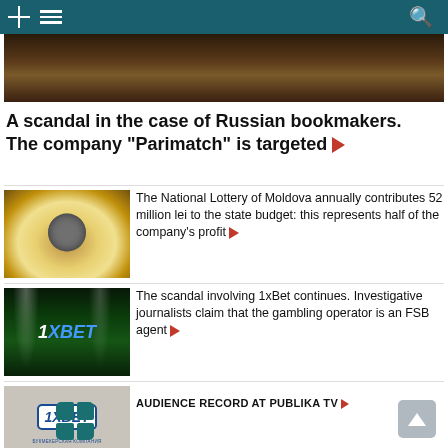Publika TV navigation header with grid icon, menu icon, and search icon
[Figure (photo): Hero banner image, dark brown background]
A scandal in the case of Russian bookmakers. The company "Parimatch" is targeted ▶
[Figure (photo): Fan-shaped display of lei banknotes with a dark circular element in the center]
The National Lottery of Moldova annually contributes 52 million lei to the state budget: this represents half of the company's profit ▶
[Figure (photo): 1xBet logo on a football stadium background with spotlights]
The scandal involving 1xBet continues. Investigative journalists claim that the gambling operator is an FSB agent ▶
[Figure (photo): 1xBet sign on building wall with Cyrillic text БУКМЕКЕРСКАЯ КОМПАНИЯ]
Ukrainians demand a ban on the 1xBet gambling operator. A petition on the president's website garnered thousands of signatures ▶
AUDIENCE RECORD AT PUBLIKA TV ▶
[Figure (logo): Publika TV teal square logo grid (2x2 squares)]